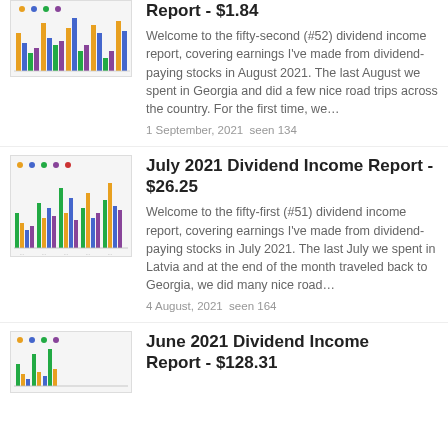[Figure (bar-chart): Grouped bar chart thumbnail for August 2021 Dividend Income Report (partially visible at top)]
Report - $1.84
Welcome to the fifty-second (#52) dividend income report, covering earnings I've made from dividend-paying stocks in August 2021. The last August we spent in Georgia and did a few nice road trips across the country. For the first time, we…
1 September, 2021 seen 134
[Figure (bar-chart): Grouped bar chart thumbnail for July 2021 Dividend Income Report]
July 2021 Dividend Income Report - $26.25
Welcome to the fifty-first (#51) dividend income report, covering earnings I've made from dividend-paying stocks in July 2021. The last July we spent in Latvia and at the end of the month traveled back to Georgia, we did many nice road…
4 August, 2021 seen 164
[Figure (bar-chart): Grouped bar chart thumbnail for June 2021 Dividend Income Report (partially visible at bottom)]
June 2021 Dividend Income Report - $128.31